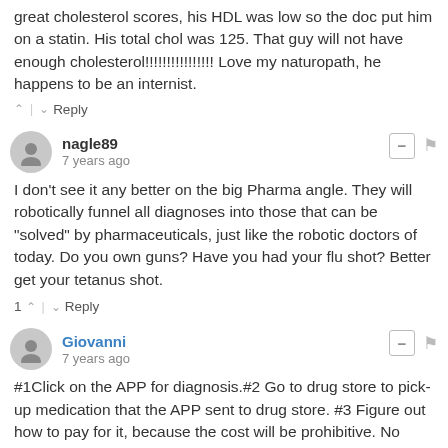great cholesterol scores, his HDL was low so the doc put him on a statin. His total chol was 125. That guy will not have enough cholesterol!!!!!!!!!!!!!!!! Love my naturopath, he happens to be an internist.
^ | v  Reply
nagle89
7 years ago
I don't see it any better on the big Pharma angle. They will robotically funnel all diagnoses into those that can be "solved" by pharmaceuticals, just like the robotic doctors of today. Do you own guns? Have you had your flu shot? Better get your tetanus shot.
1 ^ | v  Reply
Giovanni
7 years ago
#1Click on the APP for diagnosis.#2 Go to drug store to pick-up medication that the APP sent to drug store. #3 Figure out how to pay for it, because the cost will be prohibitive. No more doctor! Game, Set, Match! Big Pharma wins!
^ | v  Reply